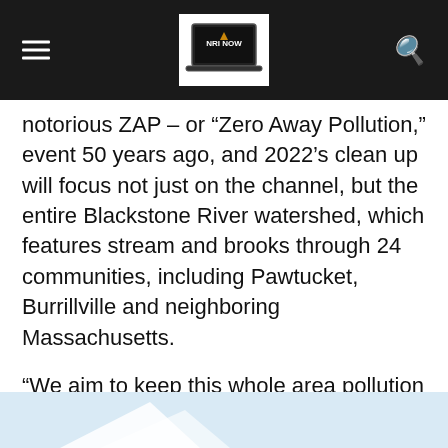NRI NOW (logo with hamburger menu and search icon)
notorious ZAP – or “Zero Away Pollution,” event 50 years ago, and 2022’s clean up will focus not just on the channel, but the entire Blackstone River watershed, which features stream and brooks through 24 communities, including Pawtucket, Burrillville and neighboring Massachusetts.
“We aim to keep this whole area pollution free,” said Kaehler, noting that the tributaries affect the overall health of the river. “It’s kind of cool to realize what I do here in my yard can effect the Blackstone River.”
[Figure (illustration): Light blue background with white geometric shapes visible at the bottom of the page]